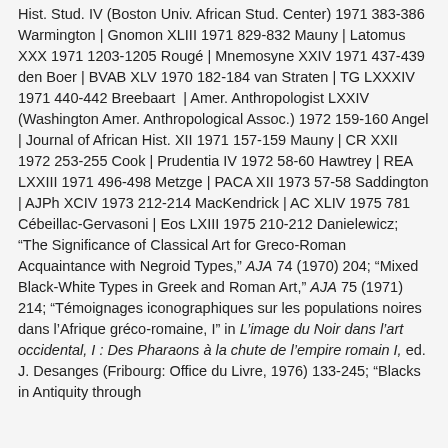Hist. Stud. IV (Boston Univ. African Stud. Center) 1971 383-386 Warmington | Gnomon XLIII 1971 829-832 Mauny | Latomus XXX 1971 1203-1205 Rougé | Mnemosyne XXIV 1971 437-439 den Boer | BVAB XLV 1970 182-184 van Straten | TG LXXXIV 1971 440-442 Breebaart | Amer. Anthropologist LXXIV (Washington Amer. Anthropological Assoc.) 1972 159-160 Angel | Journal of African Hist. XII 1971 157-159 Mauny | CR XXII 1972 253-255 Cook | Prudentia IV 1972 58-60 Hawtrey | REA LXXIII 1971 496-498 Metzge | PACA XII 1973 57-58 Saddington | AJPh XCIV 1973 212-214 MacKendrick | AC XLIV 1975 781 Cébeillac-Gervasoni | Eos LXIII 1975 210-212 Danielewicz; "The Significance of Classical Art for Greco-Roman Acquaintance with Negroid Types," AJA 74 (1970) 204; "Mixed Black-White Types in Greek and Roman Art," AJA 75 (1971) 214; "Témoignages iconographiques sur les populations noires dans l'Afrique gréco-romaine, I" in L'image du Noir dans l'art occidental, I : Des Pharaons à la chute de l'empire romain I, ed. J. Desanges (Fribourg: Office du Livre, 1976) 133-245; "Blacks in Antiquity through